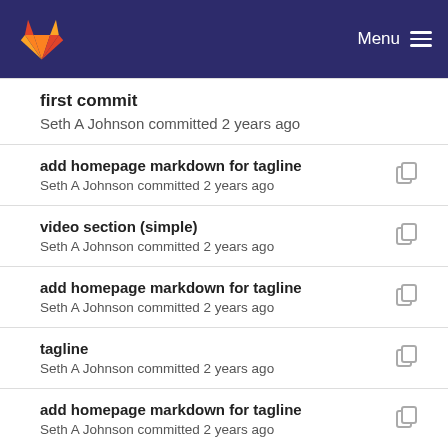GitLab logo | Menu
first commit
Seth A Johnson committed 2 years ago
add homepage markdown for tagline
Seth A Johnson committed 2 years ago
video section (simple)
Seth A Johnson committed 2 years ago
add homepage markdown for tagline
Seth A Johnson committed 2 years ago
tagline
Seth A Johnson committed 2 years ago
add homepage markdown for tagline
Seth A Johnson committed 2 years ago